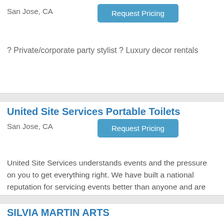San Jose, CA
Request Pricing
? Private/corporate party stylist ? Luxury decor rentals
United Site Services Portable Toilets
San Jose, CA
Request Pricing
United Site Services understands events and the pressure on you to get everything right. We have built a national reputation for servicing events better than anyone and are dedicated to
SILVIA MARTIN ARTS